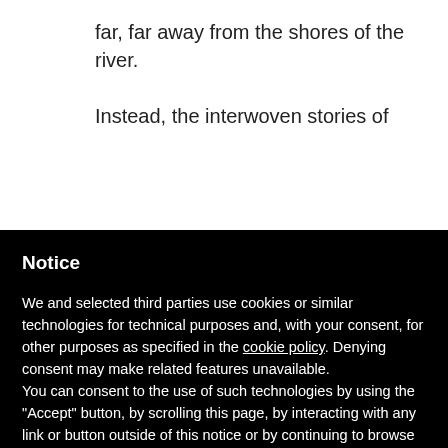far, far away from the shores of the river.
Instead, the interwoven stories of
Notice
We and selected third parties use cookies or similar technologies for technical purposes and, with your consent, for other purposes as specified in the cookie policy. Denying consent may make related features unavailable.
You can consent to the use of such technologies by using the "Accept" button, by scrolling this page, by interacting with any link or button outside of this notice or by continuing to browse otherwise.
Reject
Accept
Learn more and customize